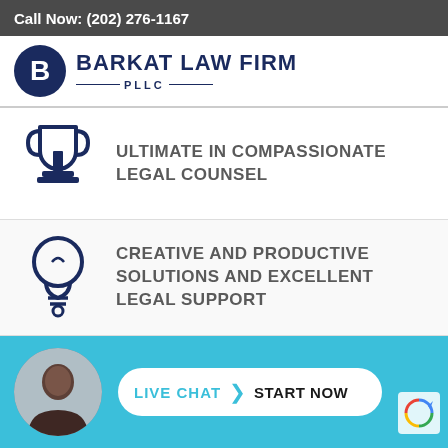Call Now: (202) 276-1167
[Figure (logo): Barkat Law Firm PLLC logo with dark blue circle containing letter B and firm name text]
ULTIMATE IN COMPASSIONATE LEGAL COUNSEL
CREATIVE AND PRODUCTIVE SOLUTIONS AND EXCELLENT LEGAL SUPPORT
LIVE CHAT START NOW